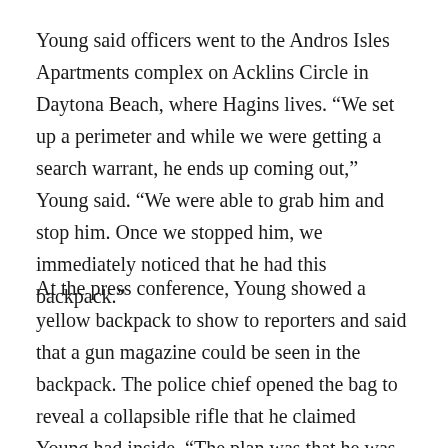Young said officers went to the Andros Isles Apartments complex on Acklins Circle in Daytona Beach, where Hagins lives. “We set up a perimeter and while we were getting a search warrant, he ends up coming out,” Young said. “We were able to grab him and stop him. Once we stopped him, we immediately noticed that he had this backpack.”
At the press conference, Young showed a yellow backpack to show to reporters and said that a gun magazine could be seen in the backpack. The police chief opened the bag to reveal a collapsible rifle that he claimed Young had inside. “The plan was that he was going to leave his apartment, he would go to Volusia Top Gun to practice and then he would go to